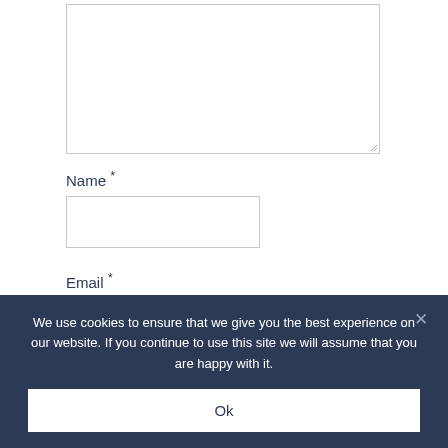Name *
Email *
We use cookies to ensure that we give you the best experience on our website. If you continue to use this site we will assume that you are happy with it.